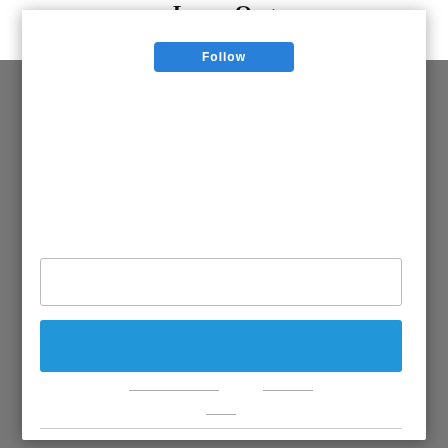Larry Ong
JOURNALIST
[Figure (screenshot): A modal dialog overlay on a webpage showing a sign-in/follow form. Contains an empty text input field, a blue button, horizontal divider lines, a second divider line, and a Google sign-in button at the bottom.]